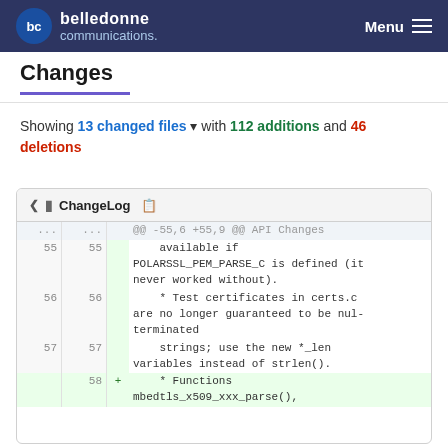belledonne communications | Menu
Changes
Showing 13 changed files with 112 additions and 46 deletions
[Figure (screenshot): Code diff block showing ChangeLog file. Hunk header: @@ -55,6 +55,9 @@ API Changes. Lines 55-57 show code about POLARSSL_PEM_PARSE_C, test certificates in certs.c, and strings/strlen. Line 58 added: * Functions mbedtls_x509_xxx_parse(),]